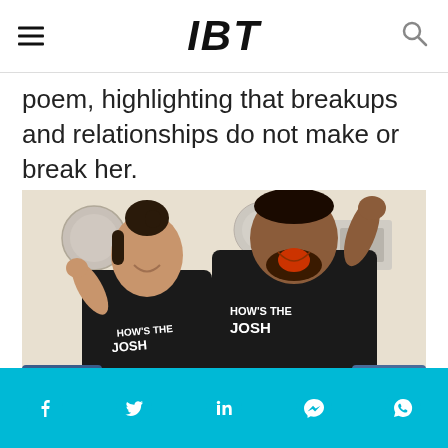IBT
poem, highlighting that breakups and relationships do not make or break her.
[Figure (photo): Two people wearing black 'HOW'S THE JOSH' sweatshirts, both flexing their arms and smiling/celebrating enthusiastically indoors.]
Facebook, Twitter, LinkedIn, Messenger, WhatsApp social share icons